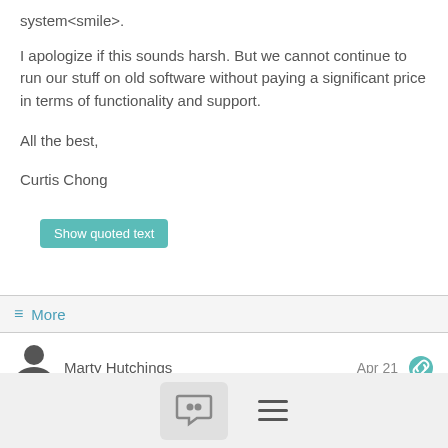system<smile>.
I apologize if this sounds harsh. But we cannot continue to run our stuff on old software without paying a significant price in terms of functionality and support.
All the best,
Curtis Chong
Show quoted text
≡ More
Marty Hutchings
Apr 21